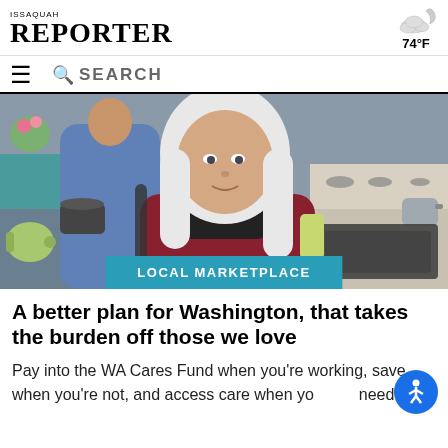ISSAQUAH REPORTER
74°F
[Figure (photo): An elderly woman with long white hair in a red cardigan sits in a wheelchair in a kitchen, looking at the camera. Behind her, a caregiver in a blue top is working at the counter.]
LOCAL MARKETPLACE
A better plan for Washington, that takes the burden off those we love
Pay into the WA Cares Fund when you're working, save when you're not, and access care when you need it